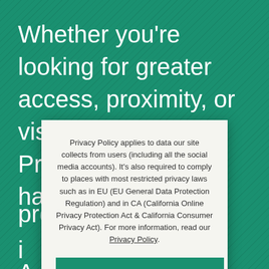Whether you're looking for greater access, proximity, or visibility, Lincoln Property Company has the ... proximity ... ings i... ... o A... d
Privacy Policy applies to data our site collects from users (including all the social media accounts). It's also required to comply to places with most restricted privacy laws such as in EU (EU General Data Protection Regulation) and in CA (California Online Privacy Protection Act & California Consumer Privacy Act). For more information, read our Privacy Policy.
ACCEPT